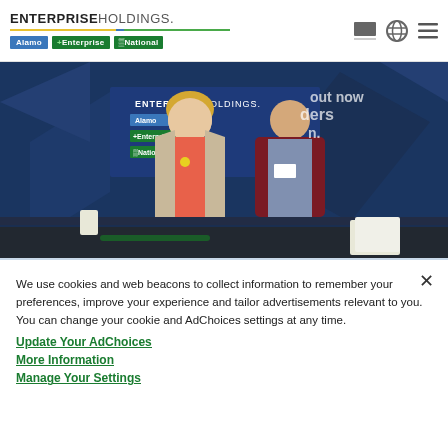ENTERPRISE HOLDINGS. Alamo | enterprise | National
[Figure (photo): Two people standing in front of an Enterprise Holdings branded display booth with Alamo, Enterprise, and National brand signs. A woman in a coral top with blazer and a man in a burgundy blazer are posing together at what appears to be a career fair or event.]
We use cookies and web beacons to collect information to remember your preferences, improve your experience and tailor advertisements relevant to you. You can change your cookie and AdChoices settings at any time.
Update Your AdChoices
More Information
Manage Your Settings